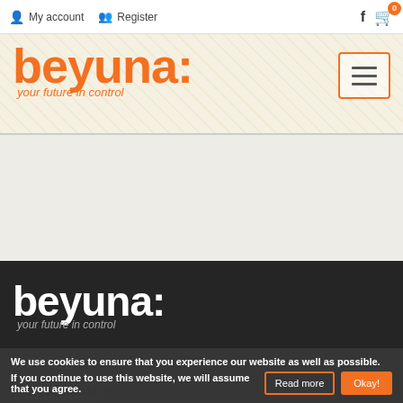My account  Register  [facebook icon]  [cart icon] 0
[Figure (logo): Beyuna orange logo with tagline 'your future in control' on textured beige banner background, with hamburger menu button]
[Figure (logo): Beyuna white logo with tagline 'your future in control' on dark background in footer]
OFFICE
Paasheuveiweg 26
1105 Amsterdam
We use cookies to ensure that you experience our website as well as possible. If you continue to use this website, we will assume that you agree.
Read more  Okay!